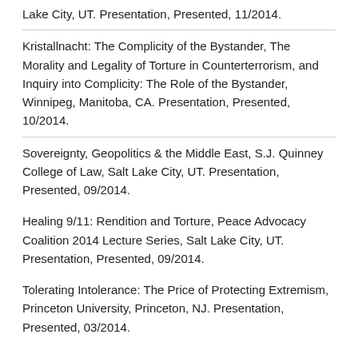Lake City, UT. Presentation, Presented, 11/2014.
Kristallnacht: The Complicity of the Bystander, The Morality and Legality of Torture in Counterterrorism, and Inquiry into Complicity: The Role of the Bystander, Winnipeg, Manitoba, CA. Presentation, Presented, 10/2014.
Sovereignty, Geopolitics & the Middle East, S.J. Quinney College of Law, Salt Lake City, UT. Presentation, Presented, 09/2014.
Healing 9/11: Rendition and Torture, Peace Advocacy Coalition 2014 Lecture Series, Salt Lake City, UT. Presentation, Presented, 09/2014.
Tolerating Intolerance: The Price of Protecting Extremism, Princeton University, Princeton, NJ. Presentation, Presented, 03/2014.